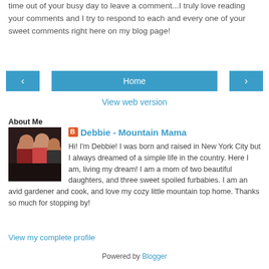...thank you from the bottom of my heart for taking time out of your busy day to leave a comment...I truly love reading your comments and I try to respond to each and every one of your sweet comments right here on my blog page!
[Figure (screenshot): Navigation bar with left arrow button, Home button, and right arrow button, all in teal/blue color]
View web version
About Me
[Figure (photo): Profile photo showing three women together]
Debbie - Mountain Mama
Hi! I'm Debbie! I was born and raised in New York City but I always dreamed of a simple life in the country. Here I am, living my dream! I am a mom of two beautiful daughters, and three sweet spoiled furbabies. I am an avid gardener and cook, and love my cozy little mountain top home. Thanks so much for stopping by!
View my complete profile
Powered by Blogger